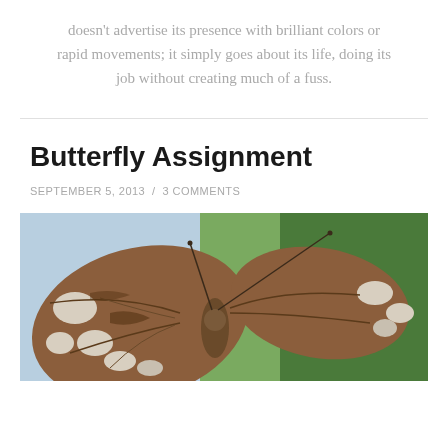doesn't advertise its presence with brilliant colors or rapid movements; it simply goes about its life, doing its job without creating much of a fuss.
Butterfly Assignment
SEPTEMBER 5, 2013 / 3 COMMENTS
[Figure (photo): Close-up macro photograph of a butterfly with brown and white patterned wings spread open, against a blurred blue and green background.]